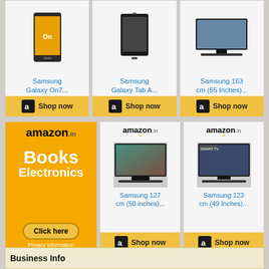[Figure (screenshot): Amazon.in advertisement banner with three product cells: Samsung Galaxy On7, Samsung Galaxy Tab A, Samsung 163 cm (65 Inches) TV, each with Shop now button]
[Figure (screenshot): Amazon.in advertisement row: left promo banner with Books Electronics and Click here button; center cell with Samsung 127 cm (50 inches) TV; right cell with Samsung 123 cm (49 Inches) TV; both with Shop now buttons]
Business Info